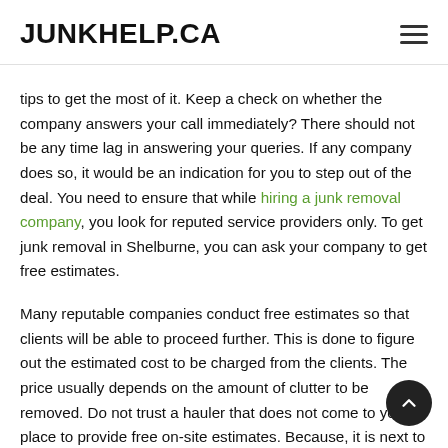JUNKHELP.CA
tips to get the most of it. Keep a check on whether the company answers your call immediately? There should not be any time lag in answering your queries. If any company does so, it would be an indication for you to step out of the deal. You need to ensure that while hiring a junk removal company, you look for reputed service providers only. To get junk removal in Shelburne, you can ask your company to get free estimates.
Many reputable companies conduct free estimates so that clients will be able to proceed further. This is done to figure out the estimated cost to be charged from the clients. The price usually depends on the amount of clutter to be removed. Do not trust a hauler that does not come to your place to provide free on-site estimates. Because, it is next to impossible to ascertain the price